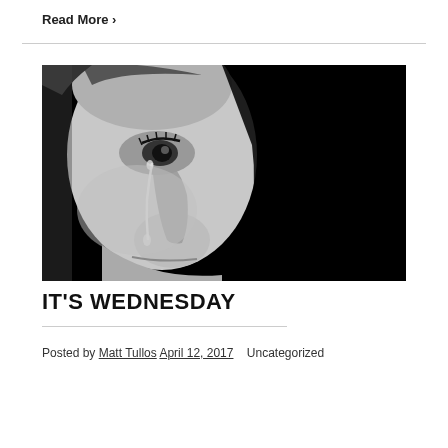Read More ❯
[Figure (photo): Black and white close-up photo of a person crying, with a tear running down their cheek, face half in shadow against a dark background.]
IT'S WEDNESDAY
Posted by Matt Tullos April 12, 2017   Uncategorized